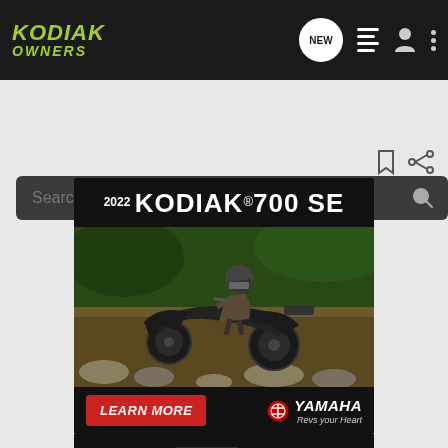KODIAK OWNERS
[Figure (screenshot): Kodiak Owners website screenshot showing navigation bar with logo, search bar, and two Yamaha ATV advertisements: 2022 Kodiak 700 SE and 2022 Grizzly XE Edition]